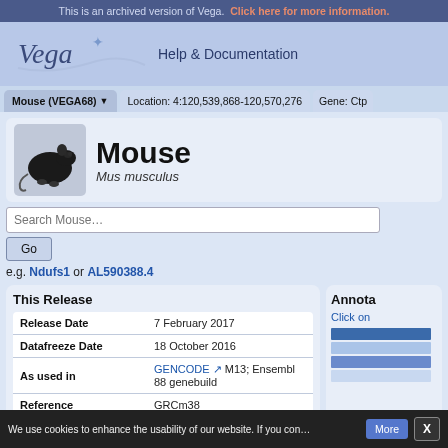This is an archived version of Vega. Click here for more information.
[Figure (logo): Vega logo with star decoration and 'Help & Documentation' text]
Mouse (VEGA68) ▼   Location: 4:120,539,868-120,570,276   Gene: Ctp
[Figure (photo): Photo of a black mouse (Mus musculus)]
Mouse
Mus musculus
Search Mouse…
e.g. Ndufs1 or AL590388.4
This Release
|  |  |
| --- | --- |
| Release Date | 7 February 2017 |
| Datafreeze Date | 18 October 2016 |
| As used in | GENCODE M13; Ensembl 88 genebuild |
| Reference | GRCm38 |
Annota
Click on
We use cookies to enhance the usability of our website. If you con…   More   X